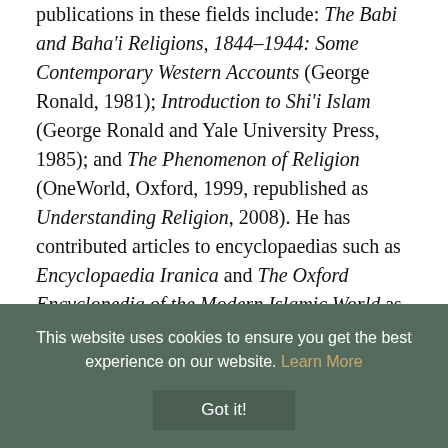publications in these fields include: The Babi and Baha'i Religions, 1844–1944: Some Contemporary Western Accounts (George Ronald, 1981); Introduction to Shi'i Islam (George Ronald and Yale University Press, 1985); and The Phenomenon of Religion (OneWorld, Oxford, 1999, republished as Understanding Religion, 2008). He has contributed articles to encyclopaedias such as Encyclopaedia Iranica and The Oxford Encyclopedia of the Modern Islamic World as well as papers to academic journals such as International Journal of Middle East Studies, Past and Present, Religion, Baha'i Studies Review, and Iranian Studies. He is a Fellow of the Royal Asiatic Society...
This website uses cookies to ensure you get the best experience on our website. Learn More
Got it!